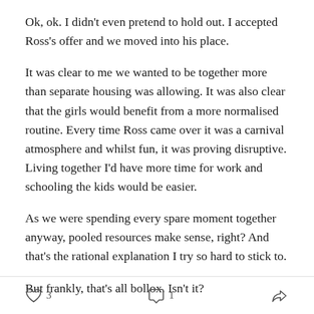Ok, ok. I didn't even pretend to hold out. I accepted Ross's offer and we moved into his place.
It was clear to me we wanted to be together more than separate housing was allowing. It was also clear that the girls would benefit from a more normalised routine. Every time Ross came over it was a carnival atmosphere and whilst fun, it was proving disruptive. Living together I'd have more time for work and schooling the kids would be easier.
As we were spending every spare moment together anyway, pooled resources make sense, right? And that's the rational explanation I try so hard to stick to.
But frankly, that's all bollox. Isn't it?
3 likes · 1 comment · share